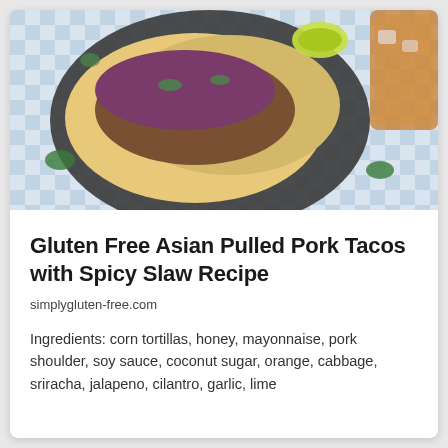[Figure (photo): Overhead photo of pulled pork tacos on a dark plate with purple cabbage slaw and lime, on a blue and white checkered cloth, with a glass of iced tea in the background.]
Gluten Free Asian Pulled Pork Tacos with Spicy Slaw Recipe
simplygluten-free.com
Ingredients: corn tortillas, honey, mayonnaise, pork shoulder, soy sauce, coconut sugar, orange, cabbage, sriracha, jalapeno, cilantro, garlic, lime